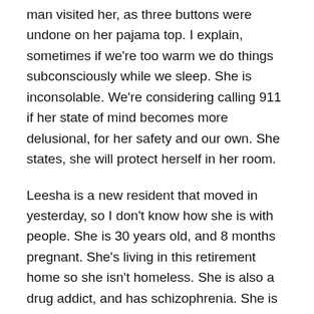man visited her, as three buttons were undone on her pajama top. I explain, sometimes if we're too warm we do things subconsciously while we sleep. She is inconsolable. We're considering calling 911 if her state of mind becomes more delusional, for her safety and our own. She states, she will protect herself in her room.
Leesha is a new resident that moved in yesterday, so I don't know how she is with people. She is 30 years old, and 8 months pregnant. She's living in this retirement home so she isn't homeless. She is also a drug addict, and has schizophrenia. She is obsessed with dead children.
I notice a strong smell of urine from her room, like she hasn't had a bath or changed clothes for a month. She refuses personal care assistance from us. We gently